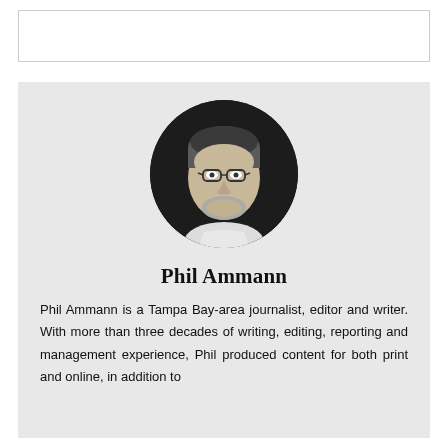[Figure (other): Empty white rectangle with border at top of page]
[Figure (photo): Black and white circular headshot photo of Phil Ammann, a middle-aged man with glasses and a beard, wearing a light colored shirt, against a dark background]
Phil Ammann
Phil Ammann is a Tampa Bay-area journalist, editor and writer. With more than three decades of writing, editing, reporting and management experience, Phil produced content for both print and online, in addition to